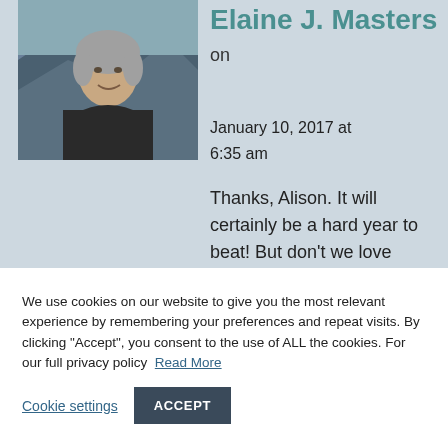[Figure (photo): Headshot photo of Elaine J. Masters — a woman with short gray hair smiling, outdoors with cliffs/mountains in background]
Elaine J. Masters on January 10, 2017 at 6:35 am
Thanks, Alison. It will certainly be a hard year to beat! But don't we love
We use cookies on our website to give you the most relevant experience by remembering your preferences and repeat visits. By clicking "Accept", you consent to the use of ALL the cookies. For our full privacy policy  Read More
Cookie settings
ACCEPT